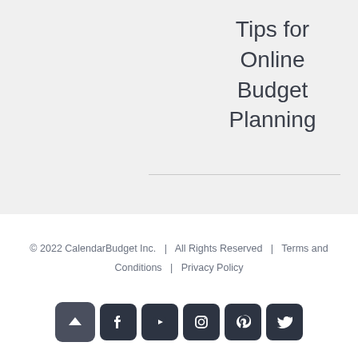Tips for Online Budget Planning
© 2022 CalendarBudget Inc.  |  All Rights Reserved  |  Terms and Conditions  |  Privacy Policy